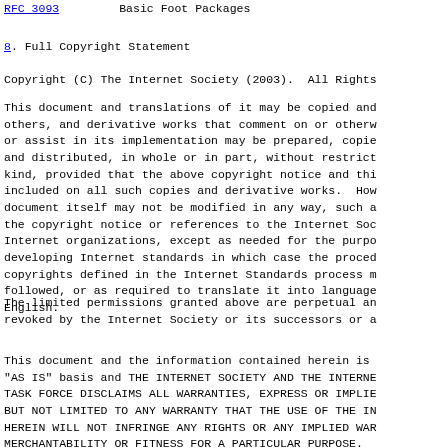RFC 3093    Basic Foot Packages
8.  Full Copyright Statement
Copyright (C) The Internet Society (2003).  All Rights
This document and translations of it may be copied and others, and derivative works that comment on or otherw or assist in its implementation may be prepared, copie and distributed, in whole or in part, without restrict kind, provided that the above copyright notice and thi included on all such copies and derivative works.  How document itself may not be modified in any way, such a the copyright notice or references to the Internet Soc Internet organizations, except as needed for the purpo developing Internet standards in which case the proced copyrights defined in the Internet Standards process m followed, or as required to translate it into language English.
The limited permissions granted above are perpetual an revoked by the Internet Society or its successors or a
This document and the information contained herein is "AS IS" basis and THE INTERNET SOCIETY AND THE INTERNE TASK FORCE DISCLAIMS ALL WARRANTIES, EXPRESS OR IMPLIE BUT NOT LIMITED TO ANY WARRANTY THAT THE USE OF THE IN HEREIN WILL NOT INFRINGE ANY RIGHTS OR ANY IMPLIED WAR MERCHANTABILITY OR FITNESS FOR A PARTICULAR PURPOSE.